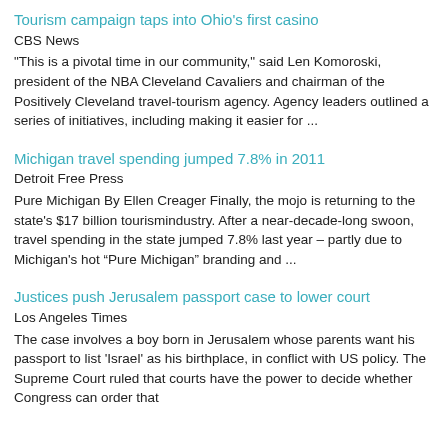Tourism campaign taps into Ohio's first casino
CBS News
"This is a pivotal time in our community," said Len Komoroski, president of the NBA Cleveland Cavaliers and chairman of the Positively Cleveland travel-tourism agency. Agency leaders outlined a series of initiatives, including making it easier for ...
Michigan travel spending jumped 7.8% in 2011
Detroit Free Press
Pure Michigan By Ellen Creager Finally, the mojo is returning to the state's $17 billion tourismindustry. After a near-decade-long swoon, travel spending in the state jumped 7.8% last year – partly due to Michigan's hot “Pure Michigan” branding and ...
Justices push Jerusalem passport case to lower court
Los Angeles Times
The case involves a boy born in Jerusalem whose parents want his passport to list 'Israel' as his birthplace, in conflict with US policy. The Supreme Court ruled that courts have the power to decide whether Congress can order that